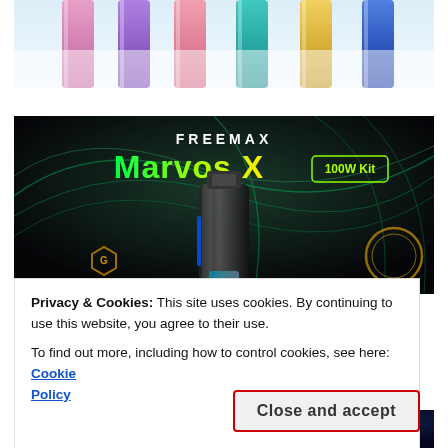[Figure (photo): Partial top view of colorful vape device lineup in multiple colors (pink, purple, teal, yellow, blue) against a light blue/white background. Image cropped at top.]
[Figure (photo): Freemax Marvos X 100W Kit advertisement banner. Black background with neon green/teal swirl lines and a vape device in the center. Text shows FREEMAX in white and 'Marvos X 100W Kit' in green/yellow gradient.]
Privacy & Cookies: This site uses cookies. By continuing to use this website, you agree to their use.
To find out more, including how to control cookies, see here: Cookie Policy
Close and accept
[Figure (photo): Bottom partial banner showing VOOPOO branding on a dark blue starry background. Partially visible at bottom of page.]